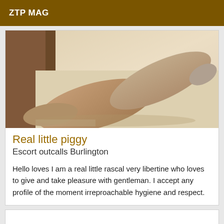ZTP MAG
[Figure (photo): Close-up photo of a person's legs and feet on a light wooden floor surface]
Real little piggy
Escort outcalls Burlington
Hello loves I am a real little rascal very libertine who loves to give and take pleasure with gentleman. I accept any profile of the moment irreproachable hygiene and respect.